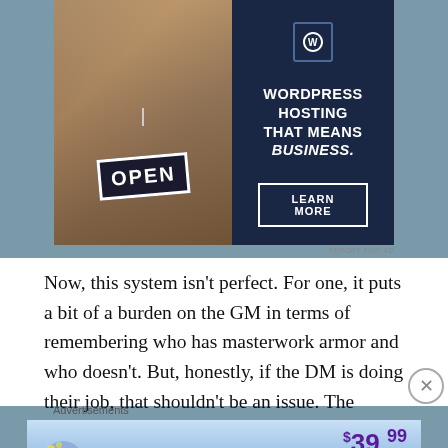[Figure (other): WordPress Hosting advertisement. Left half shows a woman holding an OPEN sign, right half is dark navy with text: WORDPRESS HOSTING THAT MEANS BUSINESS. and a LEARN MORE button.]
Now, this system isn't perfect. For one, it puts a bit of a burden on the GM in terms of remembering who has masterwork armor and who doesn't. But, honestly, if the DM is doing their job, that shouldn't be an issue. The second issue is the same I had before
[Figure (other): Tumblr Ad-Free Browsing advertisement. $39.99 a year or $4.99 a month.]